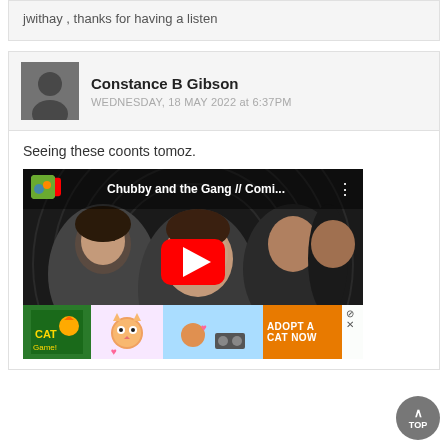jwithay , thanks for having a listen
Constance B Gibson
WEDNESDAY, 18 MAY 2022 at 6:37PM
Seeing these coonts tomoz.
[Figure (screenshot): YouTube video thumbnail for 'Chubby and the Gang // Comi...' showing a band with a red play button overlay, and an ad banner at the bottom reading 'ADOPT A CAT NOW']